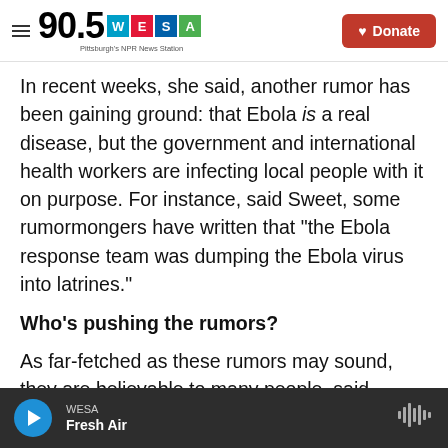90.5 WESA Pittsburgh's NPR News Station — Donate
In recent weeks, she said, another rumor has been gaining ground: that Ebola is a real disease, but the government and international health workers are infecting local people with it on purpose. For instance, said Sweet, some rumormongers have written that "the Ebola response team was dumping the Ebola virus into latrines."
Who's pushing the rumors?
As far-fetched as these rumors may sound, they are believable to many people, said Gressly, because "authorities or security forces have often
WESA — Fresh Air